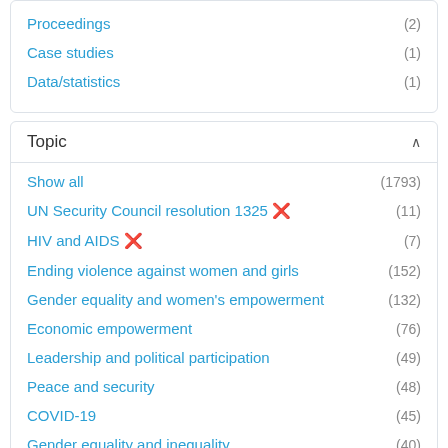Proceedings (2)
Case studies (1)
Data/statistics (1)
Topic
Show all (1793)
UN Security Council resolution 1325 ✗ (11)
HIV and AIDS ✗ (7)
Ending violence against women and girls (152)
Gender equality and women's empowerment (132)
Economic empowerment (76)
Leadership and political participation (49)
Peace and security (48)
COVID-19 (45)
Gender equality and inequality (40)
Show more